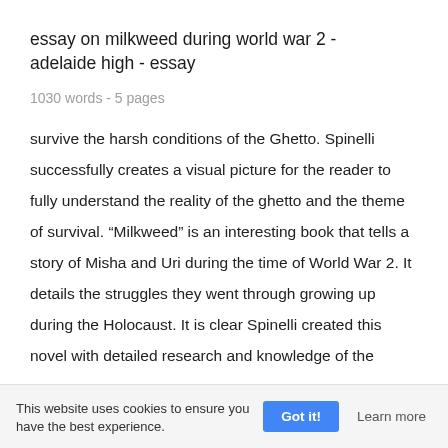essay on milkweed during world war 2 - adelaide high - essay
1030 words - 5 pages
survive the harsh conditions of the Ghetto. Spinelli successfully creates a visual picture for the reader to fully understand the reality of the ghetto and the theme of survival. “Milkweed” is an interesting book that tells a story of Misha and Uri during the time of World War 2. It details the struggles they went through growing up during the Holocaust. It is clear Spinelli created this novel with detailed research and knowledge of the
This website uses cookies to ensure you have the best experience.